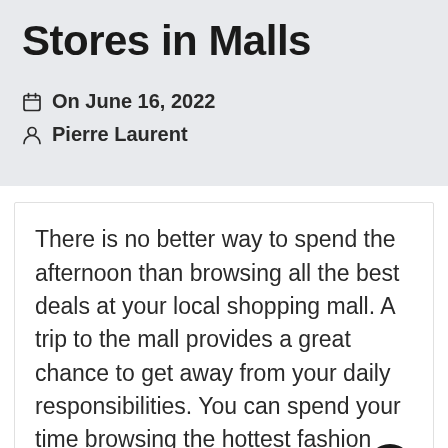Stores in Malls
On June 16, 2022
Pierre Laurent
There is no better way to spend the afternoon than browsing all the best deals at your local shopping mall. A trip to the mall provides a great chance to get away from your daily responsibilities. You can spend your time browsing the hottest fashion trends, meeting with friends, and